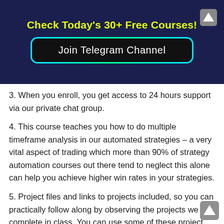Check Today's 30+ Free Courses!
[Figure (other): Join Telegram Channel button with cyan/green glowing border on dark navy background]
3. When you enroll, you get access to 24 hours support via our private chat group.
4. This course teaches you how to do multiple timeframe analysis in our automated strategies – a very vital aspect of trading which more than 90% of strategy automation courses out there tend to neglect this alone can help you achieve higher win rates in your strategies.
5. Project files and links to projects included, so you can practically follow along by observing the projects we complete in class. You can use some of these project files for you future personal projects.